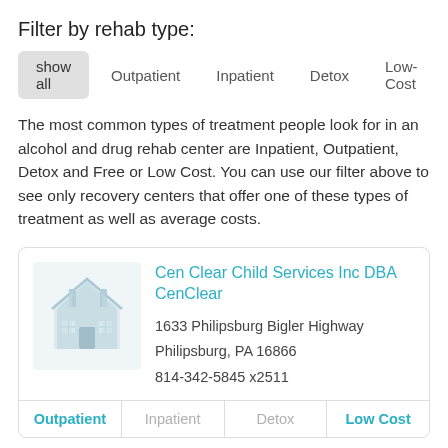Filter by rehab type:
show all | Outpatient | Inpatient | Detox | Low-Cost
The most common types of treatment people look for in an alcohol and drug rehab center are Inpatient, Outpatient, Detox and Free or Low Cost. You can use our filter above to see only recovery centers that offer one of these types of treatment as well as average costs.
Cen Clear Child Services Inc DBA CenClear
1633 Philipsburg Bigler Highway
Philipsburg, PA 16866
814-342-5845 x2511
Outpatient | Inpatient | Detox | Low Cost